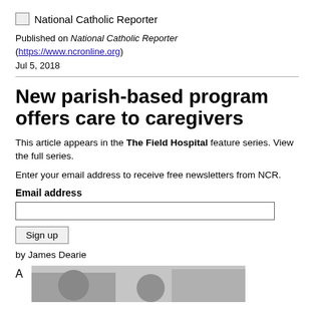National Catholic Reporter
Published on National Catholic Reporter (https://www.ncronline.org)
Jul 5, 2018
New parish-based program offers care to caregivers
This article appears in the The Field Hospital feature series. View the full series.
Enter your email address to receive free newsletters from NCR.
Email address
Sign up
by James Dearie
A
[Figure (photo): Photograph of people in a room, partially visible at the bottom of the page.]